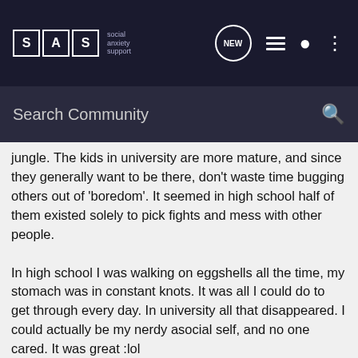SAS social anxiety support — NEW, list, user, menu icons
Search Community
jungle. The kids in university are more mature, and since they generally want to be there, don't waste time bugging others out of 'boredom'. It seemed in high school half of them existed solely to pick fights and mess with other people.

In high school I was walking on eggshells all the time, my stomach was in constant knots. It was all I could do to get through every day. In university all that disappeared. I could actually be my nerdy asocial self, and no one cared. It was great :lol
zookeeper said: ↑
Unless you're forced to work with other people, it's very easy to go to class, not say anything, then go straight home.